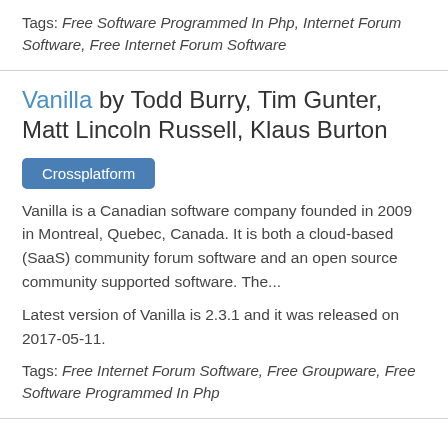Tags: Free Software Programmed In Php, Internet Forum Software, Free Internet Forum Software
Vanilla by Todd Burry, Tim Gunter, Matt Lincoln Russell, Klaus Burton
Crossplatform
Vanilla is a Canadian software company founded in 2009 in Montreal, Quebec, Canada. It is both a cloud-based (SaaS) community forum software and an open source community supported software. The...
Latest version of Vanilla is 2.3.1 and it was released on 2017-05-11.
Tags: Free Internet Forum Software, Free Groupware, Free Software Programmed In Php